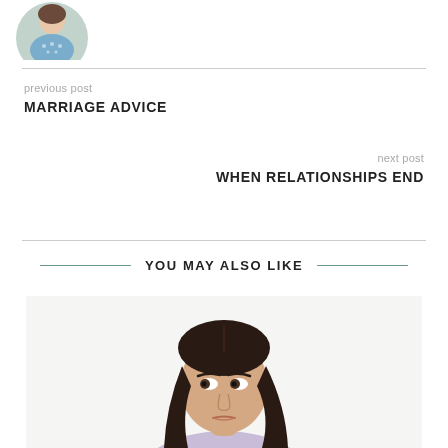[Figure (photo): Partial circular avatar photo of a person at the top left corner, cropped]
previous post
MARRIAGE ADVICE
next post
WHEN RELATIONSHIPS END
YOU MAY ALSO LIKE
[Figure (photo): Photo of a young woman with long dark hair looking sideways with a contemplative expression, wearing a light purple t-shirt, white background]